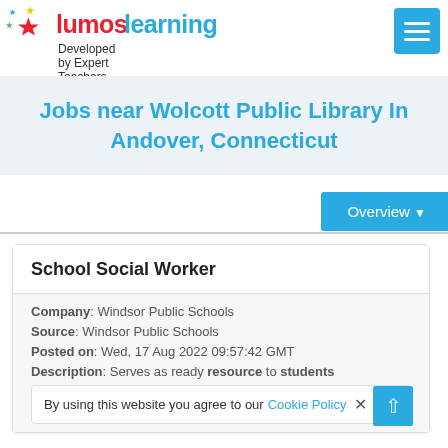[Figure (logo): Lumos Learning logo with colored stars and tagline 'Developed by Expert Teachers']
Jobs near Wolcott Public Library In Andover, Connecticut
Overview ▼
School Social Worker
Company: Windsor Public Schools
Source: Windsor Public Schools
Posted on: Wed, 17 Aug 2022 09:57:42 GMT
Description: Serves as ready resource to students
By using this website you agree to our Cookie Policy ×